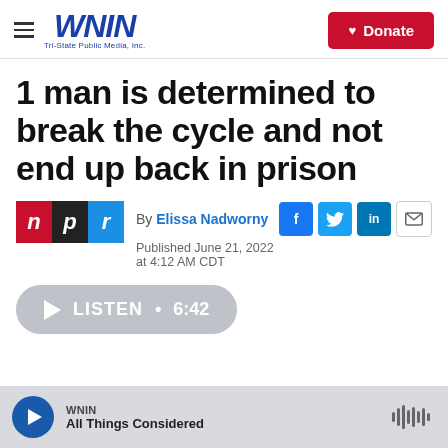WNIN Tri-State Public Media, Inc. | Donate
1 man is determined to break the cycle and not end up back in prison
By Elissa Nadworny
Published June 21, 2022 at 4:12 AM CDT
LISTEN • 6:42
WNIN All Things Considered